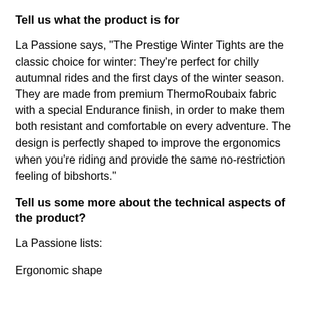Tell us what the product is for
La Passione says, "The Prestige Winter Tights are the classic choice for winter: They're perfect for chilly autumnal rides and the first days of the winter season. They are made from premium ThermoRoubaix fabric with a special Endurance finish, in order to make them both resistant and comfortable on every adventure. The design is perfectly shaped to improve the ergonomics when you're riding and provide the same no-restriction feeling of bibshorts."
Tell us some more about the technical aspects of the product?
La Passione lists:
Ergonomic shape